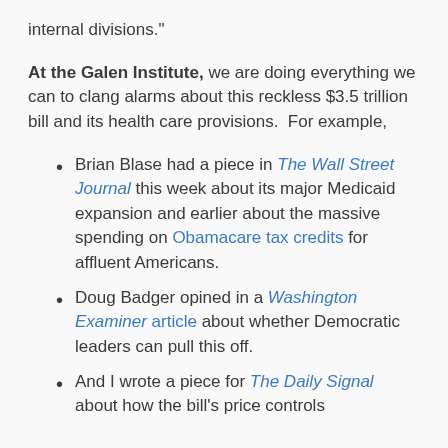internal divisions."
At the Galen Institute, we are doing everything we can to clang alarms about this reckless $3.5 trillion bill and its health care provisions.  For example,
Brian Blase had a piece in The Wall Street Journal this week about its major Medicaid expansion and earlier about the massive spending on Obamacare tax credits for affluent Americans.
Doug Badger opined in a Washington Examiner article about whether Democratic leaders can pull this off.
And I wrote a piece for The Daily Signal about how the bill's price controls